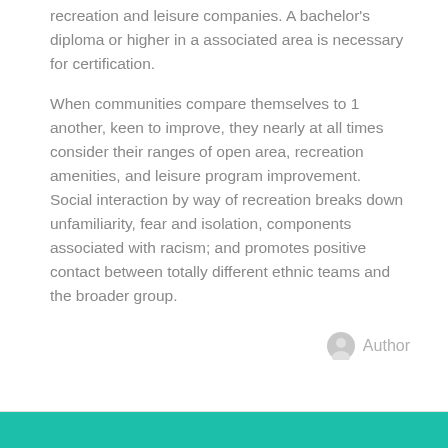recreation and leisure companies. A bachelor's diploma or higher in a associated area is necessary for certification.
When communities compare themselves to 1 another, keen to improve, they nearly at all times consider their ranges of open area, recreation amenities, and leisure program improvement. Social interaction by way of recreation breaks down unfamiliarity, fear and isolation, components associated with racism; and promotes positive contact between totally different ethnic teams and the broader group.
Author